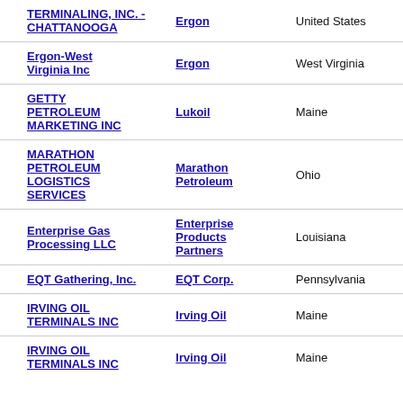| Company | Parent | State |
| --- | --- | --- |
| TERMINALING, INC. - CHATTANOOGA | Ergon | United States |
| Ergon-West Virginia Inc | Ergon | West Virginia |
| GETTY PETROLEUM MARKETING INC | Lukoil | Maine |
| MARATHON PETROLEUM LOGISTICS SERVICES | Marathon Petroleum | Ohio |
| Enterprise Gas Processing LLC | Enterprise Products Partners | Louisiana |
| EQT Gathering, Inc. | EQT Corp. | Pennsylvania |
| IRVING OIL TERMINALS INC | Irving Oil | Maine |
| IRVING OIL TERMINALS INC | Irving Oil | Maine |